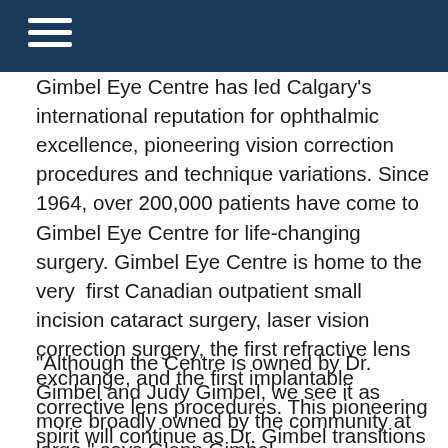Gimbel Eye Centre has led Calgary's international reputation for ophthalmic excellence, pioneering vision correction procedures and technique variations. Since 1964, over 200,000 patients have come to Gimbel Eye Centre for life-changing surgery. Gimbel Eye Centre is home to the very first Canadian outpatient small incision cataract surgery, laser vision correction surgery, the first refractive lens exchange, and the first implantable corrective lens procedures. This pioneering spirit will continue as Dr. Gimbel transitions to his new role.
“Although the Centre is owned by Dr. Gimbel and Judy Gimbel, we see it as more broadly owned by the community at large,” says Glenn Gimbel, President & Clinical Eye Centre. “The pioneering